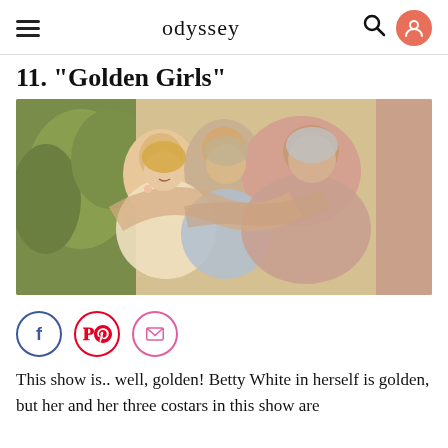odyssey
11. "Golden Girls"
[Figure (photo): Three women from the TV show Golden Girls hugging each other in a group embrace. A plant is visible in the background. The women are wearing formal/dressy attire.]
This show is.. well, golden! Betty White in herself is golden, but her and her three costars in this show are